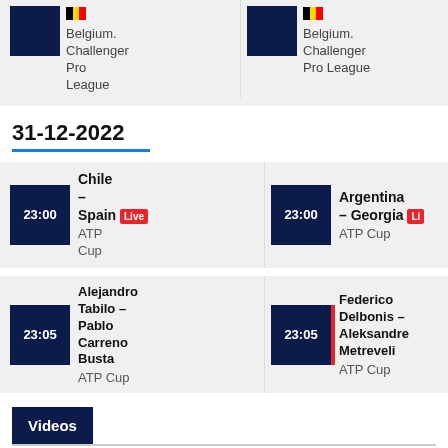Belgium. Challenger Pro League (top partial row)
31-12-2022
23:00 | Chile – Spain | Live | ATP Cup
23:00 | Argentina – Georgia | Live | ATP Cup
23:05 | Alejandro Tabilo – Pablo Carreno Busta | ATP Cup
23:05 | Federico Delbonis – Aleksandre Metreveli | ATP Cup
Videos